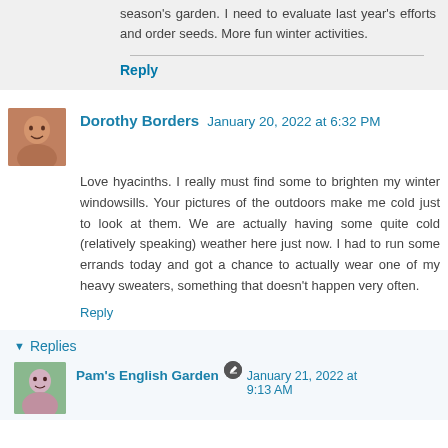season's garden. I need to evaluate last year's efforts and order seeds. More fun winter activities.
Reply
Dorothy Borders  January 20, 2022 at 6:32 PM
Love hyacinths. I really must find some to brighten my winter windowsills. Your pictures of the outdoors make me cold just to look at them. We are actually having some quite cold (relatively speaking) weather here just now. I had to run some errands today and got a chance to actually wear one of my heavy sweaters, something that doesn't happen very often.
Reply
Replies
Pam's English Garden  January 21, 2022 at 9:13 AM